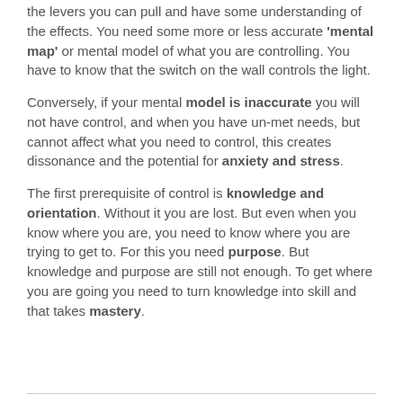the levers you can pull and have some understanding of the effects. You need some more or less accurate 'mental map' or mental model of what you are controlling. You have to know that the switch on the wall controls the light.
Conversely, if your mental model is inaccurate you will not have control, and when you have un-met needs, but cannot affect what you need to control, this creates dissonance and the potential for anxiety and stress.
The first prerequisite of control is knowledge and orientation. Without it you are lost. But even when you know where you are, you need to know where you are trying to get to. For this you need purpose. But knowledge and purpose are still not enough. To get where you are going you need to turn knowledge into skill and that takes mastery.